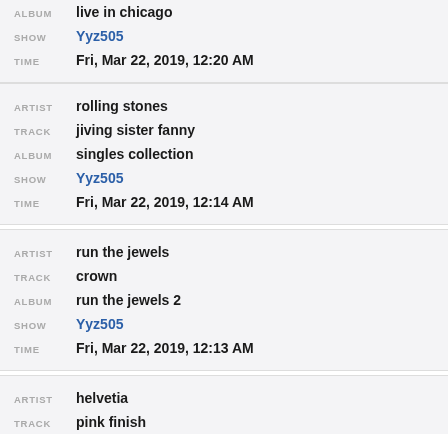ALBUM: live in chicago | SHOW: Yyz505 | TIME: Fri, Mar 22, 2019, 12:20 AM
ARTIST: rolling stones | TRACK: jiving sister fanny | ALBUM: singles collection | SHOW: Yyz505 | TIME: Fri, Mar 22, 2019, 12:14 AM
ARTIST: run the jewels | TRACK: crown | ALBUM: run the jewels 2 | SHOW: Yyz505 | TIME: Fri, Mar 22, 2019, 12:13 AM
ARTIST: helvetia | TRACK: pink finish